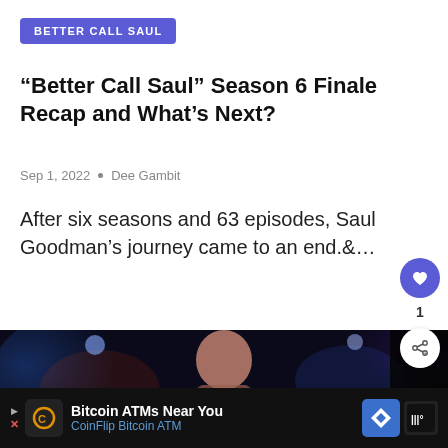BETTER CALL SAUL
“Better Call Saul” Season 6 Finale Recap and What’s Next?
Sep 1, 2022 • Dee Gambit
After six seasons and 63 episodes, Saul Goodman’s journey came to an end.&…
[Figure (photo): Promotional image for Better Call Saul with a person visible and a 'What's Next' overlay showing 'Alphas' Video: What'...]
Bitcoin ATMs Near You CoinFlip Bitcoin ATM